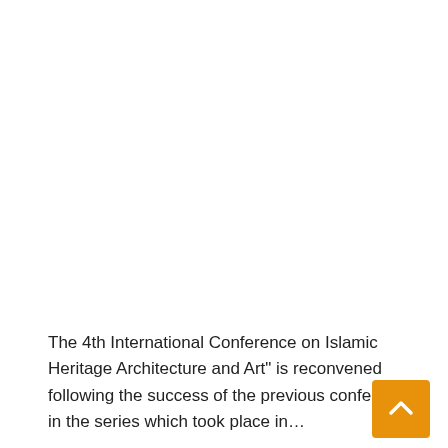The 4th International Conference on Islamic Heritage Architecture and Art" is reconvened following the success of the previous conferences in the series which took place in…
Read More »